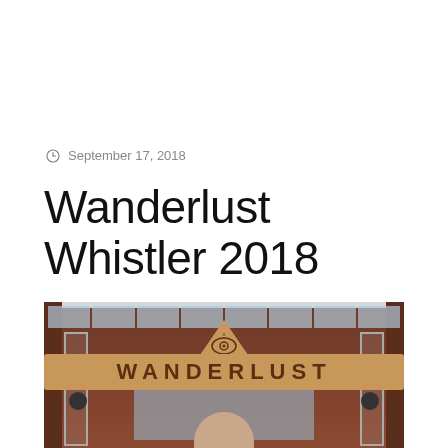September 17, 2018
Wanderlust Whistler 2018
[Figure (photo): Photograph of the Wanderlust event venue entrance, showing a wooden building facade with a large gold 'WANDERLUST' sign banner and an eye logo above the entrance, with a person standing in front of the glass doors.]